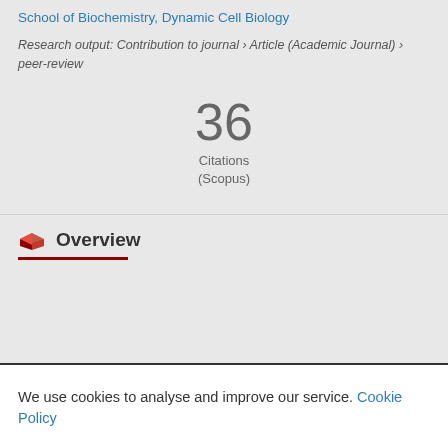School of Biochemistry, Dynamic Cell Biology
Research output: Contribution to journal › Article (Academic Journal) › peer-review
36 Citations (Scopus)
Overview
We use cookies to analyse and improve our service. Cookie Policy